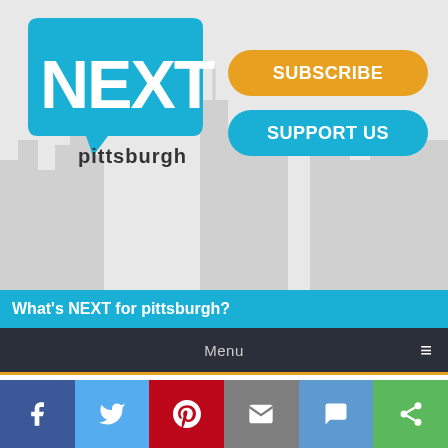[Figure (screenshot): NEXT Pittsburgh website header with logo, Subscribe and Support Us buttons, blue tagline bar, dark navigation bar, article text, and social share bar]
What's NEXT for pittsburgh?
Menu
The Point Park University graduate, with a degree in communications, tells us more.
As a ReClaim Northside Ambassador for Observatory Hill and the Northside neighborhoods, what's your biggest challenge?
I don't feel like there is a challenge at all. That's what you do as a part of a neighborhood. If you see something that needs to be done, you do it. That something that is still being provided...